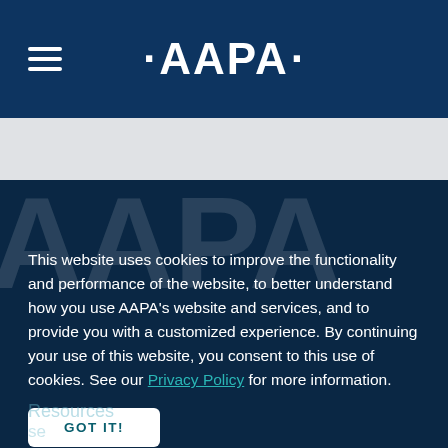[Figure (logo): AAPA logo with hamburger menu on dark blue navigation bar]
This website uses cookies to improve the functionality and performance of the website, to better understand how you use AAPA's website and services, and to provide you with a customized experience. By continuing your use of this website, you consent to this use of cookies. See our Privacy Policy for more information.
GOT IT!